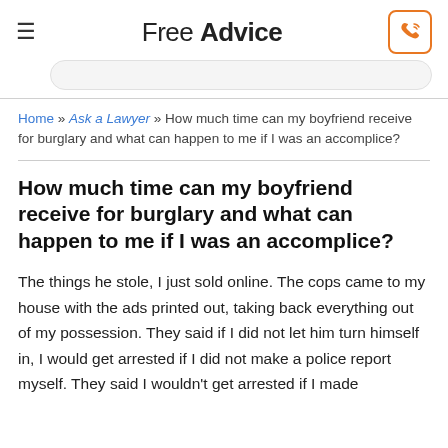Free Advice
Home » Ask a Lawyer » How much time can my boyfriend receive for burglary and what can happen to me if I was an accomplice?
How much time can my boyfriend receive for burglary and what can happen to me if I was an accomplice?
The things he stole, I just sold online. The cops came to my house with the ads printed out, taking back everything out of my possession. They said if I did not let him turn himself in, I would get arrested if I did not make a police report myself. They said I wouldn't get arrested if I made